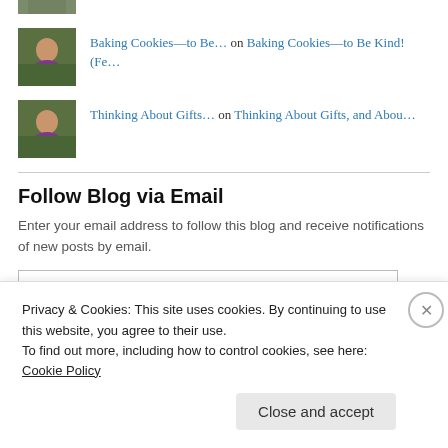[Figure (photo): Partial thumbnail of a person outdoors at top]
Baking Cookies—to Be… on Baking Cookies—to Be Kind! (Fe…
[Figure (photo): Thumbnail photo of a smiling person in purple outdoors]
Thinking About Gifts… on Thinking About Gifts, and Abou…
Follow Blog via Email
Enter your email address to follow this blog and receive notifications of new posts by email.
Enter your email address
Privacy & Cookies: This site uses cookies. By continuing to use this website, you agree to their use.
To find out more, including how to control cookies, see here: Cookie Policy
Close and accept